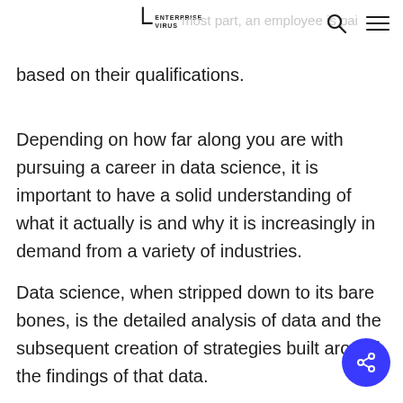ENTERPRISE VIRUS [logo] [search] [menu]
most part, an employee is paid based on their qualifications.
Depending on how far along you are with pursuing a career in data science, it is important to have a solid understanding of what it actually is and why it is increasingly in demand from a variety of industries.
Data science, when stripped down to its bare bones, is the detailed analysis of data and the subsequent creation of strategies built around the findings of that data.